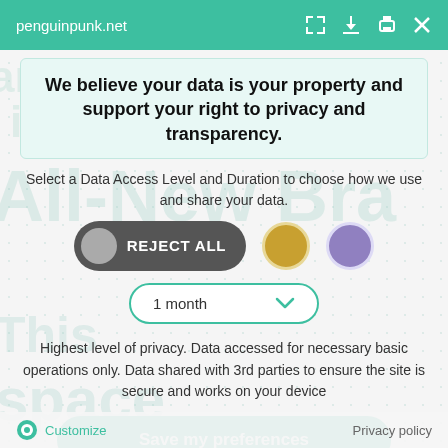penguinpunk.net
We believe your data is your property and support your right to privacy and transparency.
Select a Data Access Level and Duration to choose how we use and share your data.
[Figure (infographic): Three privacy level selector buttons: REJECT ALL (dark grey pill button with grey circle icon), a gold circle option, and a purple circle option. Below is a dropdown showing '1 month' with a teal chevron arrow.]
Highest level of privacy. Data accessed for necessary basic operations only. Data shared with 3rd parties to ensure the site is secure and works on your device
Save my preferences
Customize   Privacy policy